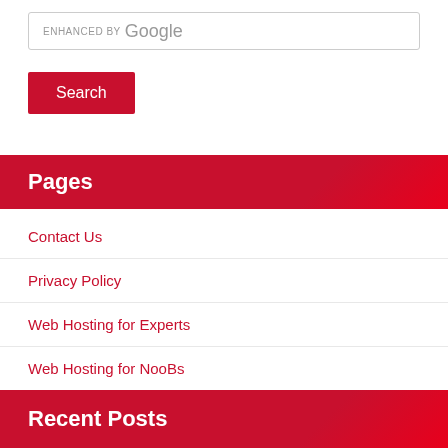[Figure (screenshot): Search box with 'ENHANCED BY Google' placeholder text]
Search
Pages
Contact Us
Privacy Policy
Web Hosting for Experts
Web Hosting for NooBs
Web Hosting for Novices
Recent Posts